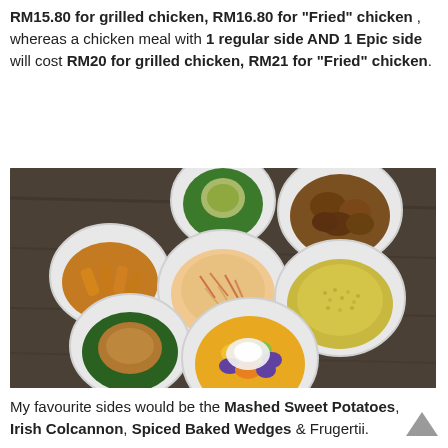RM15.80 for grilled chicken, RM16.80 for "Fried" chicken , whereas a chicken meal with 1 regular side AND 1 Epic side will cost RM20 for grilled chicken, RM21 for "Fried" chicken.
[Figure (photo): Six white bowls arranged on a dark wooden surface, containing various side dishes: spiced baked wedges, a green dip with spinach, fried chicken pieces, coleslaw, couscous or grain salad, mashed sweet potatoes with spinach, and a fruit salad with cream.]
My favourite sides would be the Mashed Sweet Potatoes, Irish Colcannon, Spiced Baked Wedges & Frugertii.